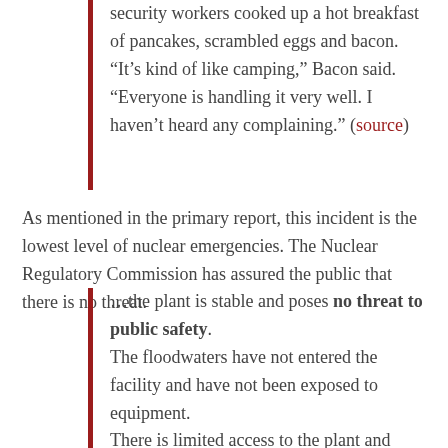security workers cooked up a hot breakfast of pancakes, scrambled eggs and bacon. “It’s kind of like camping,” Bacon said. “Everyone is handling it very well. I haven’t heard any complaining.” (source)
As mentioned in the primary report, this incident is the lowest level of nuclear emergencies. The Nuclear Regulatory Commission has assured the public that there is no threat.
…the plant is stable and poses no threat to public safety. The floodwaters have not entered the facility and have not been exposed to equipment. There is limited access to the plant and some